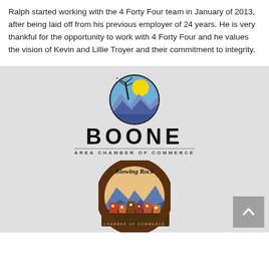Ralph started working with the 4 Forty Four team in January of 2013, after being laid off from his previous employer of 24 years. He is very thankful for the opportunity to work with 4 Forty Four and he values the vision of Kevin and Lillie Troyer and their commitment to integrity.
[Figure (logo): Boone Area Chamber of Commerce logo: circular emblem with mountains, sun, and tree branches above bold text BOONE and AREA CHAMBER OF COMMERCE]
[Figure (logo): Blowing Rock Chamber of Commerce circular logo with stylized script text and illustrated mountain town scene]